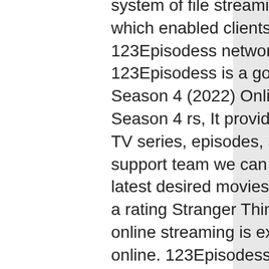system of file streaming sites working from Vietnam, which enabled clients to watch films for free. The 123Episodess network is still active via clone sites. 123Episodess is a good alternate for Stranger Things Season 4 (2022) Online Episodes Stranger Things Season 4 rs, It provides best and latest online movies, TV series, episodes, and anime etc. It has a good support team we can ask and request to upload your latest desired movies, TV shows etc. Here we can give a rating Stranger Things Season 4 watching. The online streaming is excellent to watch movies free online. 123Episodess has Great filter tabs on the home page we can select and watch Featured, Most Viewed, Most Favorite, Top Rating, Top IMDb movies online. Here we can download and watch 123movies movies offline. 123Episodess websites is best alternate to Stranger Things Season 4 (2022) free online. we will recommend 123Episodess is the best